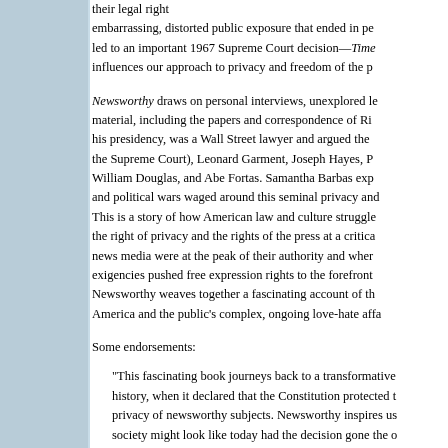their legal right... embarrassing, distorted public exposure that ended in pe... led to an important 1967 Supreme Court decision—Time... influences our approach to privacy and freedom of the p...
Newsworthy draws on personal interviews, unexplored le... material, including the papers and correspondence of Ri... his presidency, was a Wall Street lawyer and argued the... the Supreme Court), Leonard Garment, Joseph Hayes, P... William Douglas, and Abe Fortas. Samantha Barbas exp... and political wars waged around this seminal privacy and... This is a story of how American law and culture struggle... the right of privacy and the rights of the press at a critica... news media were at the peak of their authority and wher... exigencies pushed free expression rights to the forefront... Newsworthy weaves together a fascinating account of th... America and the public's complex, ongoing love-hate affa...
Some endorsements:
"This fascinating book journeys back to a transformative... history, when it declared that the Constitution protected t... privacy of newsworthy subjects. Newsworthy inspires us... society might look like today had the decision gone the o...